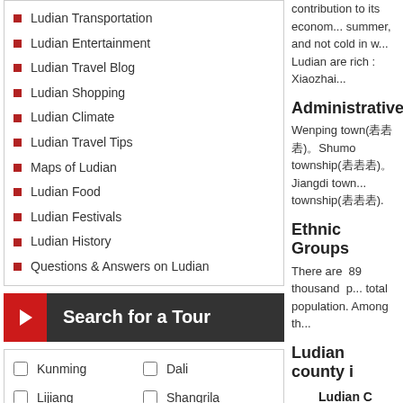Ludian Transportation
Ludian Entertainment
Ludian Travel Blog
Ludian Shopping
Ludian Climate
Ludian Travel Tips
Maps of Ludian
Ludian Food
Ludian Festivals
Ludian History
Questions & Answers on Ludian
Search for a Tour
Kunming
Dali
Lijiang
Shangrila
Yuanyang
Jinghong
Beijing
Xian
Shanghai
Guilin
contribution to its economy. summer, and not cold in w... Ludian are rich : Xiaozhai...
Administrative
Wenping town(瞿瞿瞿)。Shuimo township(瞿瞿瞿)。Jiangdi town... township(瞿瞿瞿).
Ethnic Groups
There are 89 thousand p... total population. Among th...
Ludian county i
Ludian C
[Figure (map): Map of China showing Ludian county location]